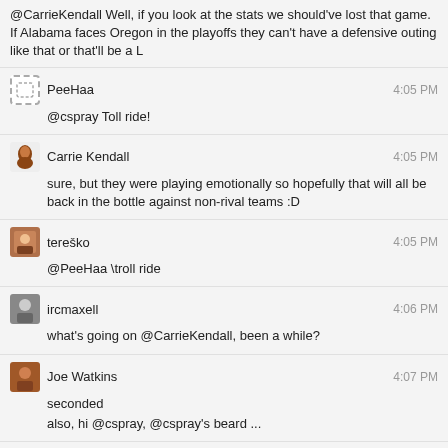@CarrieKendall Well, if you look at the stats we should've lost that game. If Alabama faces Oregon in the playoffs they can't have a defensive outing like that or that'll be a L
PeeHaa 4:05 PM
@cspray Toll ride!
Carrie Kendall 4:05 PM
sure, but they were playing emotionally so hopefully that will all be back in the bottle against non-rival teams :D
tereško 4:05 PM
@PeeHaa \troll ride
ircmaxell 4:06 PM
what's going on @CarrieKendall, been a while?
Joe Watkins 4:07 PM
seconded
also, hi @cspray, @cspray's beard ...
cspray 4:08 PM
@CarrieKendall Yea, but like I've been saying for years. Sometimes you just gotta out offense these high octane teams... I see Oregon being the same way
@JoeWatkins Yo, how's it going?
Joe Watkins 4:08 PM
not too shabby @cspray
cspray 4:08 PM